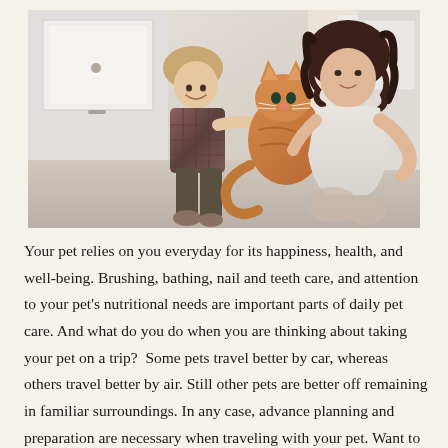[Figure (photo): A young toddler boy in a plaid shirt reaching out to pet an orange tabby cat being held by a woman with dark curly hair wearing a white long-sleeve top. They are sitting on a kitchen floor near white cabinets.]
Your pet relies on you everyday for its happiness, health, and well-being. Brushing, bathing, nail and teeth care, and attention to your pet's nutritional needs are important parts of daily pet care. And what do you do when you are thinking about taking your pet on a trip?  Some pets travel better by car, whereas others travel better by air. Still other pets are better off remaining in familiar surroundings. In any case, advance planning and preparation are necessary when traveling with your pet. Want to know how to help your special